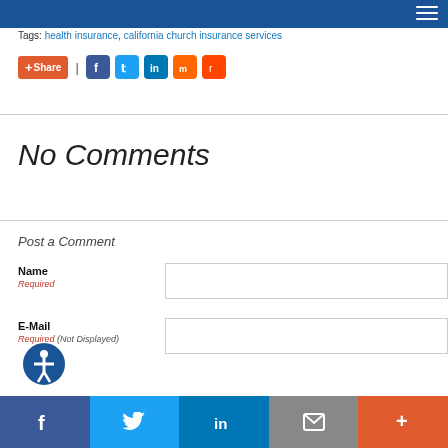Tags: health insurance, california church insurance services
[Figure (other): Social share bar with Share button, Facebook, Twitter, LinkedIn, Mix, Reddit icons]
No Comments
Post a Comment
Name
Required
E-Mail
Required (Not Displayed)
Facebook, Twitter, LinkedIn, Email, More social share buttons